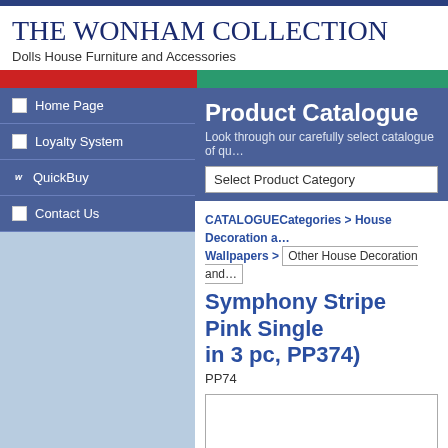THE WONHAM COLLECTION
Dolls House Furniture and Accessories
Product Catalogue
Look through our carefully select catalogue of qu...
Home Page
Loyalty System
QuickBuy
Contact Us
CATALOGUECategories > House Decoration a... Wallpapers > Other House Decoration and...
Symphony Stripe Pink Single in 3 pc, PP374)
PP74